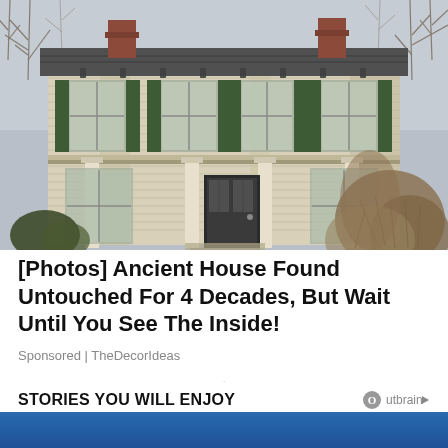[Figure (photo): An old, dilapidated two-story white wooden house with green shutters, peeling paint, a covered front porch with white columns, surrounded by bare winter trees and overgrown dry brush. Two brick chimneys visible on the roof.]
[Photos] Ancient House Found Untouched For 4 Decades, But Wait Until You See The Inside!
Sponsored | TheDecorIdeas
.
STORIES YOU WILL ENJOY
[Figure (photo): Partial bottom strip showing beginning of another article image — blue toned]